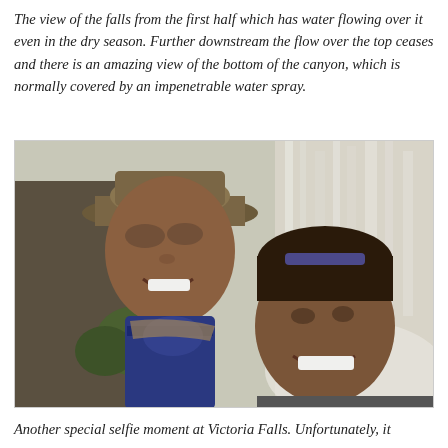The view of the falls from the first half which has water flowing over it even in the dry season. Further downstream the flow over the top ceases and there is an amazing view of the bottom of the canyon, which is normally covered by an impenetrable water spray.
[Figure (photo): A selfie photo of two people (a man wearing a wide-brimmed hat and a woman) smiling at the camera with Victoria Falls waterfall visible in the background.]
Another special selfie moment at Victoria Falls. Unfortunately, it